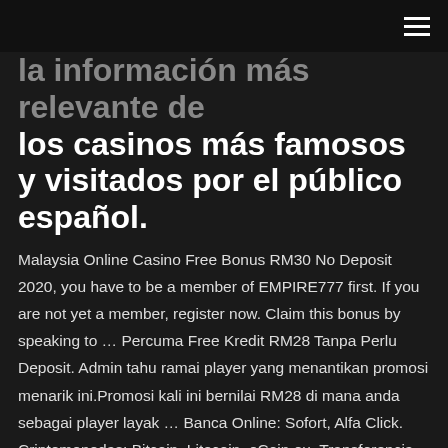≡
la información más relevante de los casinos más famosos y visitados por el público español.
Malaysia Online Casino Free Bonus RM30 No Deposit 2020, you have to be a member of EMPIRE777 first. If you are not yet a member, register now. Claim this bonus by speaking to … Percuma Free Kredit RM28 Tanpa Perlu Deposit. Admin tahu ramai player yang menantikan promosi menarik ini.Promosi kali ini bernilai RM28 di mana anda sebagai player layak … Banca Online: Sofort, Alfa Click. Criptomonedas: Bitcoin, Litecoin, eCoin.eu. Transferencia bancaria. El depósito mínimo está fijado en 5€ y el máximo en 100.000€ por transacción. … This means that online gambling is possible in Malaysia because foreign offshore